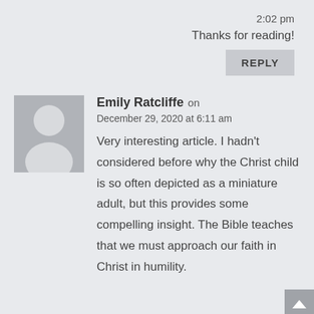2:02 pm
Thanks for reading!
REPLY
[Figure (illustration): Gray placeholder avatar with silhouette of a person (head and shoulders)]
Emily Ratcliffe on
December 29, 2020 at 6:11 am
Very interesting article. I hadn't considered before why the Christ child is so often depicted as a miniature adult, but this provides some compelling insight. The Bible teaches that we must approach our faith in Christ in humility.